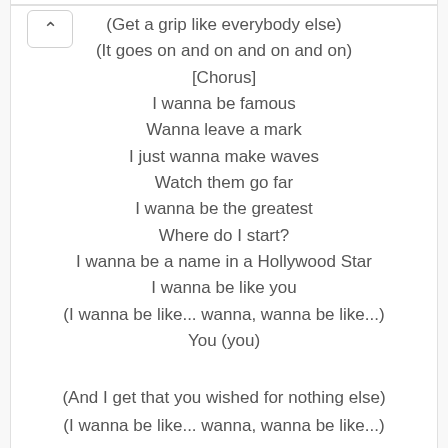(Get a grip like everybody else)
(It goes on and on and on and on)
[Chorus]
I wanna be famous
Wanna leave a mark
I just wanna make waves
Watch them go far
I wanna be the greatest
Where do I start?
I wanna be a name in a Hollywood Star
I wanna be like you
(I wanna be like... wanna, wanna be like...)
You (you)
(And I get that you wished for nothing else)
(I wanna be like... wanna, wanna be like...)